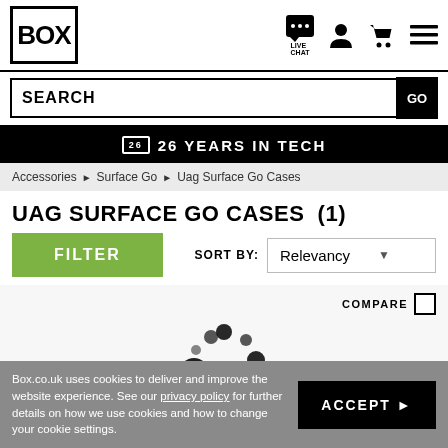[Figure (screenshot): BOX retailer website header with logo, live chat icon, person icon, cart icon, menu icon, and SEARCH bar with GO button]
26 YEARS IN TECH
Accessories ▶ Surface Go ▶ Uag Surface Go Cases
UAG SURFACE GO CASES  (1)
FILTER    SORT BY: Relevancy
COMPARE ☐
[Figure (other): Loading spinner animation (dots in circular pattern)]
Box.co.uk uses cookies to deliver and improve the website experience. See our privacy policy for further details on how we use cookies and how to change your cookie settings.
ACCEPT ▶